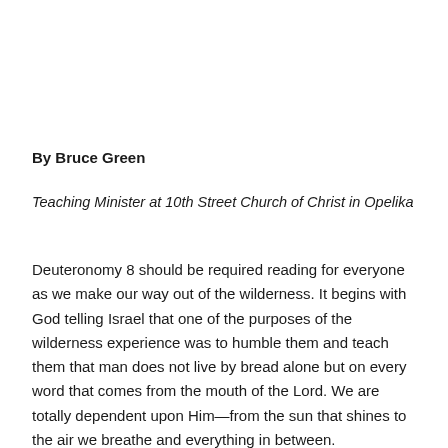By Bruce Green
Teaching Minister at 10th Street Church of Christ in Opelika
Deuteronomy 8 should be required reading for everyone as we make our way out of the wilderness. It begins with God telling Israel that one of the purposes of the wilderness experience was to humble them and teach them that man does not live by bread alone but on every word that comes from the mouth of the Lord. We are totally dependent upon Him—from the sun that shines to the air we breathe and everything in between.